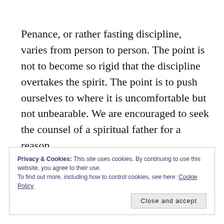Penance, or rather fasting discipline, varies from person to person. The point is not to become so rigid that the discipline overtakes the spirit. The point is to push ourselves to where it is uncomfortable but not unbearable. We are encouraged to seek the counsel of a spiritual father for a reason.
Privacy & Cookies: This site uses cookies. By continuing to use this website, you agree to their use. To find out more, including how to control cookies, see here: Cookie Policy
Close and accept